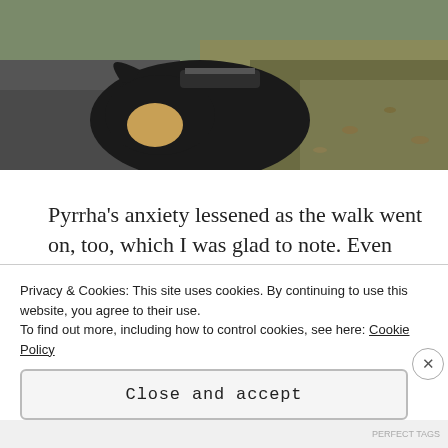[Figure (photo): Close-up photo of a black and tan dog (German Shepherd) sniffing the ground near grass and pavement]
Pyrrha's anxiety lessened as the walk went on, too, which I was glad to note. Even though we kept passing dogs, near the end of our long walk, she was far more relaxed about them passing and was
Privacy & Cookies: This site uses cookies. By continuing to use this website, you agree to their use.
To find out more, including how to control cookies, see here: Cookie Policy
Close and accept
PERFECT TAGS